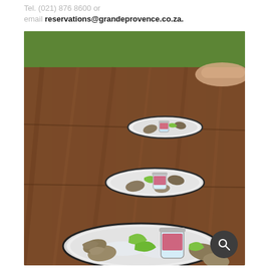Tel. (021) 876 8600 or email reservations@grandeprovence.co.za.
[Figure (photo): Overhead perspective photo of a long wooden outdoor dining table with a series of dark round plates lined up in a row, each holding oysters on ice, lime wedges, and a small glass jar filled with a pink/red granita or mignonette sauce. The background shows green grass and a hand visible at the top right. The foreground plate is most in focus showing oysters, lime wedges, and a mason jar with red sauce.]